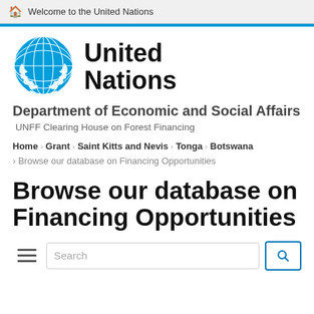Welcome to the United Nations
[Figure (logo): United Nations emblem logo in blue]
United Nations
Department of Economic and Social Affairs
UNFF Clearing House on Forest Financing
Home › Grant › Saint Kitts and Nevis › Tonga › Botswana › Browse our database on Financing Opportunities
Browse our database on Financing Opportunities
Search